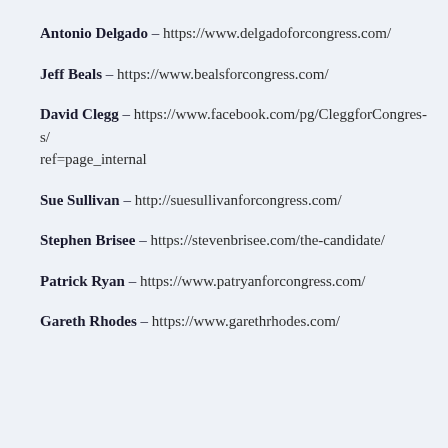Antonio Delgado – https://www.delgadoforcongress.com/
Jeff Beals – https://www.bealsforcongress.com/
David Clegg – https://www.facebook.com/pg/CleggforCongress/ref=page_internal
Sue Sullivan – http://suesullivanforcongress.com/
Stephen Brisee – https://stevenbrisee.com/the-candidate/
Patrick Ryan – https://www.patryanforcongress.com/
Gareth Rhodes – https://www.garethrhodes.com/